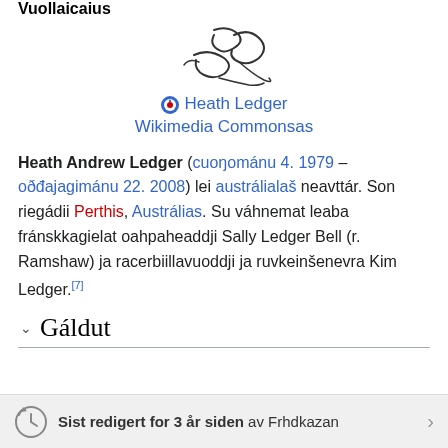Vuollaicaius
[Figure (illustration): Handwritten signature of Heath Ledger]
Heath Ledger Wikimedia Commonsas
Heath Andrew Ledger (cuoŋománu 4. 1979 – oðđajagimánu 22. 2008) lei austrálialaš neavttár. Son riegádii Perthis, Austrálias. Su váhnemat leaba fránskkagielat oahpaheaddji Sally Ledger Bell (r. Ramshaw) ja racerbiillavuoddji ja ruvkeinšenevra Kim Ledger.[7]
Gáldut
Sist redigert for 3 år siden av Frhdkazan